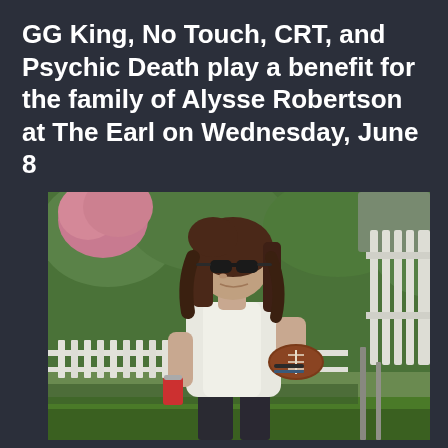GG King, No Touch, CRT, and Psychic Death play a benefit for the family of Alysse Robertson at The Earl on Wednesday, June 8
[Figure (photo): A young woman with dark reddish-brown hair wearing sunglasses and a white sleeveless top, holding a football under one arm and a can in the other hand, standing outdoors in a backyard setting with green trees, a white picket fence, and chain-link fence in the background.]